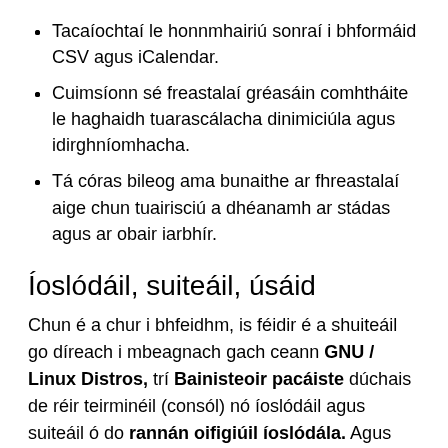Tacaíochtaí le honnmhairiú sonraí i bhformáid CSV agus iCalendar.
Cuimsíonn sé freastalaí gréasáin comhtháite le haghaidh tuarascálacha dinimiciúla agus idirghníomhacha.
Tá córas bileog ama bunaithe ar fhreastalaí aige chun tuairisciú a dhéanamh ar stádas agus ar obair iarbhír.
Íoslódáil, suiteáil, úsáid
Chun é a chur i bhfeidhm, is féidir é a shuiteáil go díreach i mbeagnach gach ceann GNU / Linux Distros, trí Bainisteoir pacáiste dúchais de réir teirminéil (consól) nó íoslódáil agus suiteáil ó do rannán oifigiúil íoslódála. Agus cumraigh go